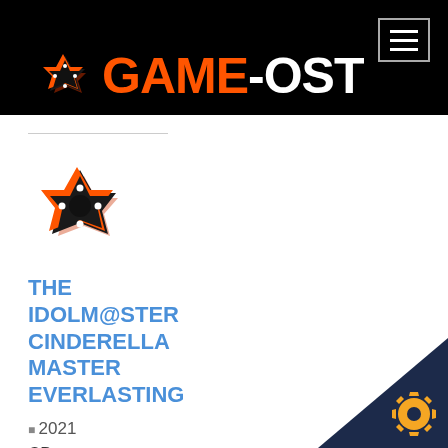GAME-OST
[Figure (logo): Game-OST website logo with orange asterisk/cross icon and text GAME-OST in orange and white]
[Figure (logo): Game-OST orange and black cross/asterisk icon for album]
THE IDOLM@STER CINDERELLA MASTER EVERLASTING
2021
CD
[Figure (logo): Partial Game-OST orange and black cross/asterisk icon for second album entry]